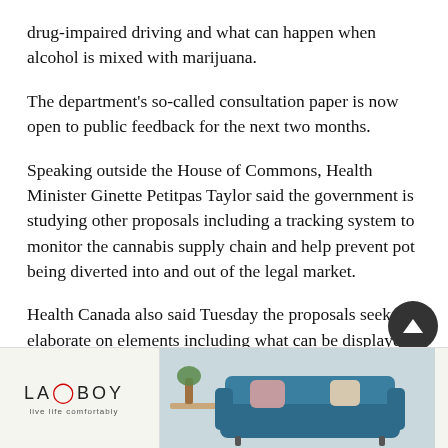drug-impaired driving and what can happen when alcohol is mixed with marijuana.
The department's so-called consultation paper is now open to public feedback for the next two months.
Speaking outside the House of Commons, Health Minister Ginette Petitpas Taylor said the government is studying other proposals including a tracking system to monitor the cannabis supply chain and help prevent pot being diverted into and out of the legal market.
Health Canada also said Tuesday the proposals seek to elaborate on elements including what can be displayed on a package and what can't, including anything that might...
[Figure (other): La-Z-Boy advertisement banner showing a blue tufted sofa with decorative pillows, La-Z-Boy logo on the left side with tagline 'Live life comfortably']